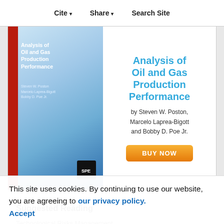Cite | Share | Search Site
[Figure (illustration): Book cover and advertisement for 'Analysis of Oil and Gas Production Performance' by Steven W. Poston, Marcelo Laprea-Bigott and Bobby D. Poe Jr. with a BUY NOW button.]
Suggested Reading
Technological Risks Management Principles
08HSE
The Great Risk Delusion
08HSE
Management Of Change: Key Component Of An Effective HSE Management System
This site uses cookies. By continuing to use our website, you are agreeing to our privacy policy. Accept